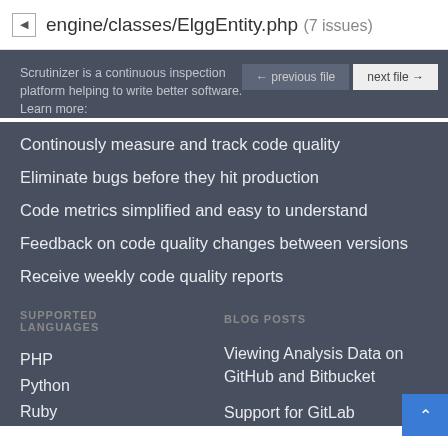engine/classes/ElggEntity.php (7 issues)
Scrutinizer is a continuous inspection platform helping to write better software. Learn more:
Continously measure and track code quality
Eliminate bugs before they hit production
Code metrics simplified and easy to understand
Feedback on code quality changes between versions
Receive weekly code quality reports
SUPPORTED LANGUAGES
BLOG POSTS
PHP
Python
Ruby
Viewing Analysis Data on GitHub and Bitbucket
Support for GitLab